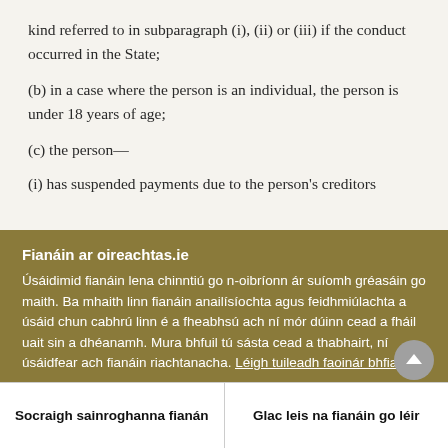kind referred to in subparagraph (i), (ii) or (iii) if the conduct occurred in the State;
(b) in a case where the person is an individual, the person is under 18 years of age;
(c) the person—
(i) has suspended payments due to the person's creditors
Fianáin ar oireachtas.ie
Úsáidimid fianáin lena chinntiú go n-oibríonn ár suíomh gréasáin go maith. Ba mhaith linn fianáin anailísíochta agus feidhmiúlachta a úsáid chun cabhrú linn é a fheabhsú ach ní mór dúinn cead a fháil uait sin a dhéanamh. Mura bhfuil tú sásta cead a thabhairt, ní úsáidfear ach fianáin riachtanacha. Léigh tuileadh faoinár bhfianáin
Socraigh sainroghanna fianán
Glac leis na fianáin go léir